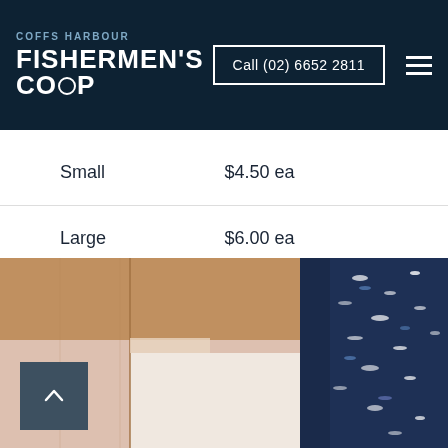COFFS HARBOUR FISHERMEN'S CO-OP | Call (02) 6652 2811
| Size | Price |
| --- | --- |
| Small | $4.50 ea |
| Large | $6.00 ea |
[Figure (photo): Close-up photo of a cardboard box with seafood/fish visible in the upper right corner with blue and white coloring against a dark background.]